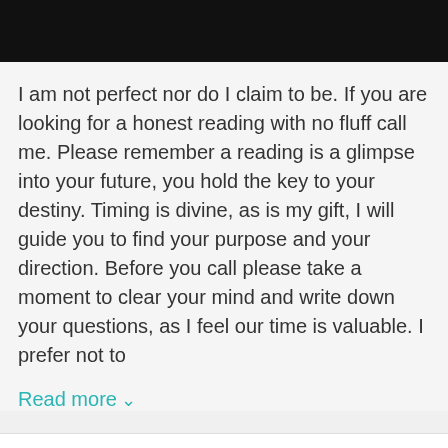[Figure (photo): Dark/black header image area at the top of the page]
I am not perfect nor do I claim to be. If you are looking for a honest reading with no fluff call me. Please remember a reading is a glimpse into your future, you hold the key to your destiny. Timing is divine, as is my gift, I will guide you to find your purpose and your direction. Before you call please take a moment to clear your mind and write down your questions, as I feel our time is valuable. I prefer not to
Read more ∨
Advisor is Offline
Arrange Call
Chat Later